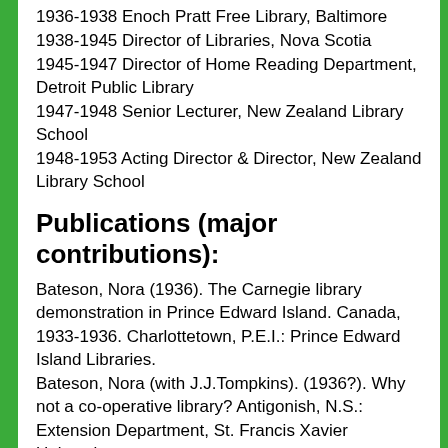1936-1938 Enoch Pratt Free Library, Baltimore
1938-1945 Director of Libraries, Nova Scotia
1945-1947 Director of Home Reading Department, Detroit Public Library
1947-1948 Senior Lecturer, New Zealand Library School
1948-1953 Acting Director & Director, New Zealand Library School
Publications (major contributions):
Bateson, Nora (1936). The Carnegie library demonstration in Prince Edward Island. Canada, 1933-1936. Charlottetown, P.E.I.: Prince Edward Island Libraries. Bateson, Nora (with J.J.Tompkins). (1936?). Why not a co-operative library? Antigonish, N.S.: Extension Department, St. Francis Xavier University. Bateson, Nora (1938). Library survey of Nova Scotia. [Halifax, N.S.]: Department of Education. Batson, Nora (1944). Livres pour aujourd'hui et demain. [Ottawa]: Counseil Canadien des bibliothèques. Bateson, Nora (19...). Report. Counseil canadien des bibliotheques.